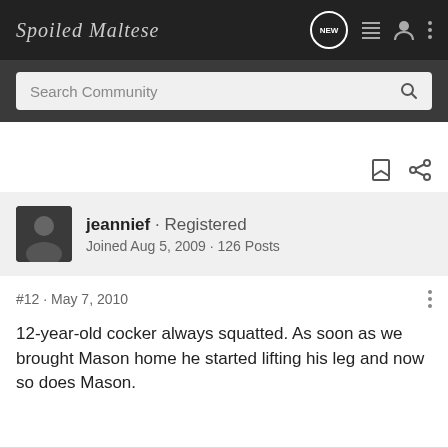Spoiled Maltese
Search Community
jeannief · Registered
Joined Aug 5, 2009 · 126 Posts
#12 · May 7, 2010
12-year-old cocker always squatted. As soon as we brought Mason home he started lifting his leg and now so does Mason.